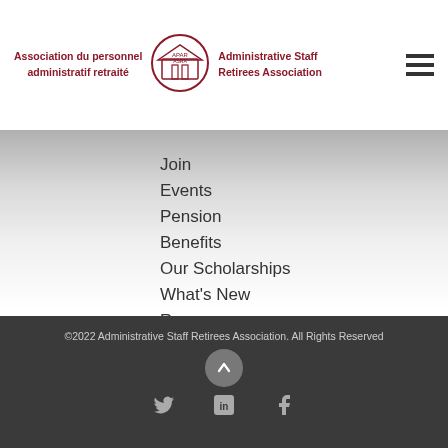Association du personnel administratif retraité | Administrative Staff Retirees Association
Join
Events
Pension
Benefits
Our Scholarships
What's New
Resources
Documents
©2022 Administrative Staff Retirees Association. All Rights Reserved